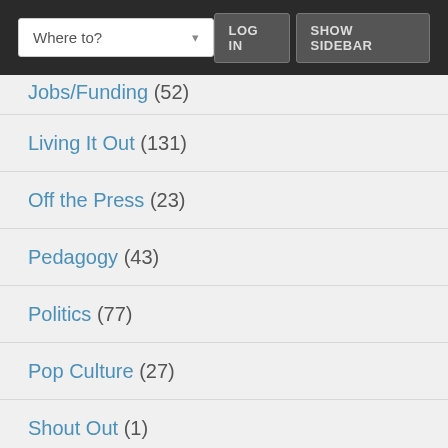Where to? | LOGIN  SHOW SIDEBAR
Jobs/Funding (52)
Living It Out (131)
Off the Press (23)
Pedagogy (43)
Politics (77)
Pop Culture (27)
Shout Out (1)
Social Justice (75)
The Arts (23)
The Sciences (3)
Trending (1)